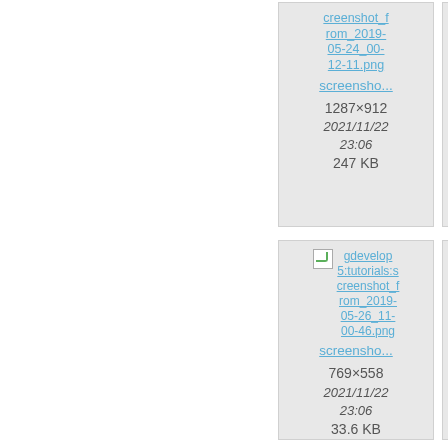[Figure (screenshot): File gallery card showing gdevelop5:tutorials:screenshot_from_2019-05-24_00-12-11.png, screensho..., 1287x912, 2021/11/22 23:06, 247 KB]
[Figure (screenshot): File gallery card showing gdevelop5:tutorials:screenshot_from_2019-05-27-1..., screer..., 1283..., 2021/..., 23..., 62.0...]
[Figure (screenshot): File gallery card showing gdevelop5:tutorials:screenshot_from_2019-05-26_11-00-46.png, screensho..., 769x558, 2021/11/22 23:06, 33.6 KB]
[Figure (screenshot): File gallery card showing gdevelop5:tutorials:screenshot_from_2019-05-3...-41-2..., screer..., 768..., 2021/..., 23..., 33.2...]
[Figure (screenshot): File gallery card partially visible at bottom left - gdevelop...]
[Figure (screenshot): File gallery card partially visible at bottom right - gd...]